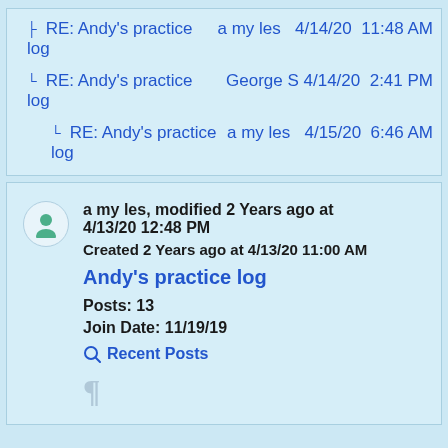RE: Andy's practice log   a my les   4/14/20 11:48 AM
RE: Andy's practice log   George S   4/14/20 2:41 PM
RE: Andy's practice log   a my les   4/15/20 6:46 AM
a my les, modified 2 Years ago at 4/13/20 12:48 PM
Created 2 Years ago at 4/13/20 11:00 AM
Andy's practice log
Posts: 13
Join Date: 11/19/19
Recent Posts